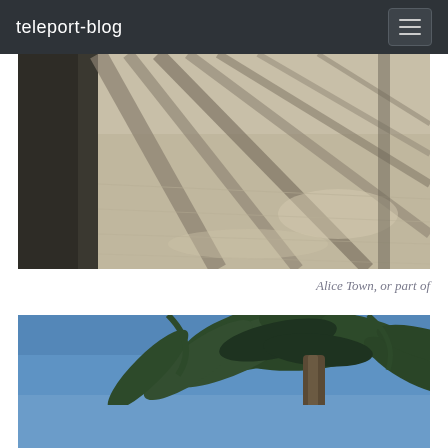teleport-blog
[Figure (photo): Overhead view of sandy ground with palm tree shadows cast across it, dark pavement visible on the left edge]
Alice Town, or part of
[Figure (photo): Looking up at a coconut palm tree against a clear blue sky, fronds spread across the upper portion of the frame]